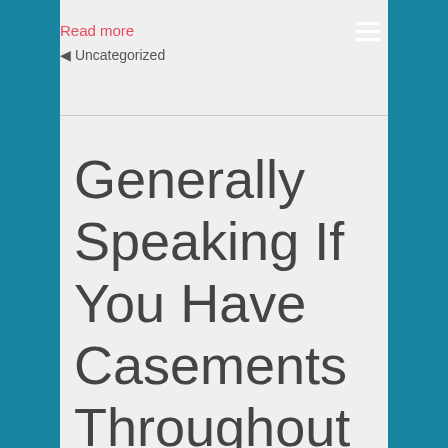Read more
⊲ Uncategorized
Generally Speaking If You Have Casements Throughout Your Home Try To Include